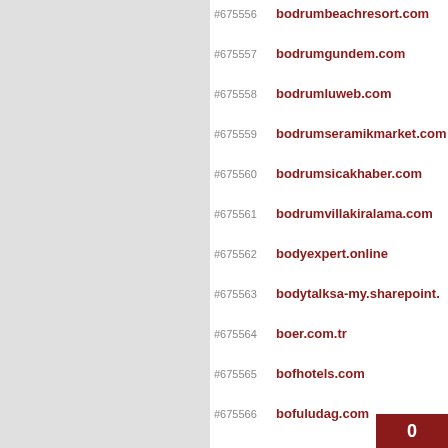#675556  bodrumbeachresort.com
#675557  bodrumgundem.com
#675558  bodrumluweb.com
#675559  bodrumseramikmarket.com
#675560  bodrumsicakhaber.com
#675561  bodrumvillakiralama.com
#675562  bodyexpert.online
#675563  bodytalksa-my.sharepoint.
#675564  boer.com.tr
#675565  bofhotels.com
#675566  bofuludag.com
#675567  bogatepekoyu.com
#675568  bogazicihukuk.c...